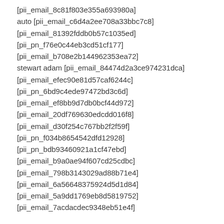[pii_email_8c81f803e355a693980a]
auto [pii_email_c6d4a2ee708a33bbc7c8]
[pii_email_81392fddb0b57c1035ed]
[pii_pn_f76e0c44eb3cd51cf177]
[pii_email_b708e2b144962353ea72]
stewart adam [pii_email_84474d2a3ce974231dca]
[pii_email_efec90e81d57caf6244c]
[pii_pn_6bd9c4ede97472bd3c6d]
[pii_email_ef8bb9d7db0bcf44d972]
[pii_email_20df769630edcdd016f8]
[pii_email_d30f254c767bb2f2f59f]
[pii_pn_f034b8654542dfd12928]
[pii_pn_bdb93460921a1cf47ebd]
[pii_email_b9a0ae94f607cd25cdbc]
[pii_email_798b3143029ad88b71e4]
[pii_email_6a56648375924d5d1d84]
[pii_email_5a9dd1769eb8d5819752]
[pii_email_7acdacdec9348eb51e4f]